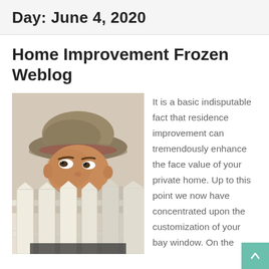Day: June 4, 2020
Home Improvement Frozen Weblog
[Figure (photo): Person wearing a bucket hat peeking over a white picket fence]
It is a basic indisputable fact that residence improvement can tremendously enhance the face value of your private home. Up to this point we now have concentrated upon the customization of your bay window. On the...